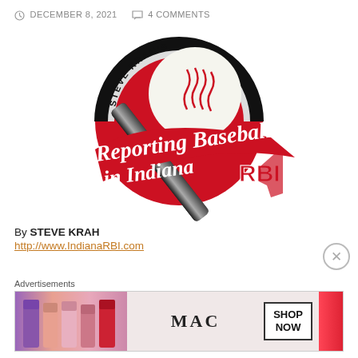DECEMBER 8, 2021   4 COMMENTS
[Figure (logo): Steve Krah's Reporting Baseball in Indiana (RBI) logo featuring a baseball bat, baseball, and outline of Indiana state]
By STEVE KRAH
http://www.IndianaRBI.com
Advertisements
[Figure (photo): MAC cosmetics advertisement showing lipsticks with 'MAC' logo and 'SHOP NOW' button]